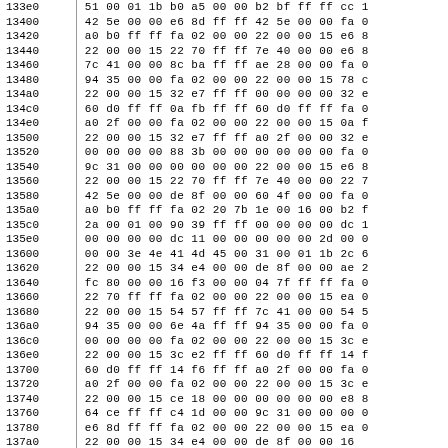| Address | Hex Data |
| --- | --- |
| 133e0 | 51 00 01 1b b0 a5 00 00 b2 bf ff ff cc 1 |
| 13400 | 42 5e 00 00 e6 8d ff ff 42 5e 00 00 fa 0 |
| 13420 | a0 b0 ff ff fa 02 00 00 22 00 00 15 e6 8 |
| 13440 | 22 00 00 15 22 70 ff ff 7e 40 00 00 e6 8 |
| 13460 | 7c 41 00 00 8c ba ff ff ae 28 00 00 fa 0 |
| 13480 | 94 35 00 00 fa 02 00 00 22 00 00 15 78 c |
| 134a0 | 22 00 00 15 32 e7 ff ff 00 00 00 00 32 e |
| 134c0 | 60 d0 ff ff 0a fb ff ff 60 d0 ff ff fa 0 |
| 134e0 | a0 2f 00 00 fa 02 00 00 22 00 00 15 0a f |
| 13500 | 22 00 00 15 32 e7 ff ff a0 2f 00 00 32 e |
| 13520 | 00 00 00 00 88 3b 00 00 00 00 00 00 fa 0 |
| 13540 | 9c 31 00 00 00 00 00 00 22 00 00 15 e6 8 |
| 13560 | 22 00 00 15 22 70 ff ff 7e 40 00 00 22 7 |
| 13580 | 42 5e 00 00 de 8f 00 00 60 4f 00 00 fa 0 |
| 135a0 | a0 b0 ff ff fa 02 20 7b 1e 00 16 00 b2 f |
| 135c0 | 2a 00 01 00 90 39 ff ff 00 00 00 00 dc 1 |
| 135e0 | 00 00 00 00 dc 11 00 00 00 00 00 2d 00 0 |
| 13600 | 00 00 3e 4e 41 4d 45 00 31 00 01 1b 2c 6 |
| 13620 | 22 00 00 15 34 e4 00 00 de 8f 00 00 ae 2 |
| 13640 | fc 80 00 00 16 f3 00 00 04 7f ff ff fa 0 |
| 13660 | 22 70 ff ff fa 02 00 00 22 00 00 15 ea 0 |
| 13680 | 22 00 00 15 54 57 ff ff 7c 41 00 00 54 5 |
| 136a0 | 94 35 00 00 6e 4a ff ff 94 35 00 00 fa 0 |
| 136c0 | 00 00 00 00 fa 02 00 00 22 00 00 15 3c e |
| 136e0 | 22 00 00 15 3c e2 ff ff 60 d0 ff ff 14 f |
| 13700 | 60 d0 ff ff 14 f6 ff ff a0 2f 00 00 fa 0 |
| 13720 | a0 2f 00 00 fa 02 00 00 22 00 00 15 3c e |
| 13740 | 22 00 00 15 ce 18 00 00 00 00 00 00 e8 8 |
| 13760 | 64 ce ff ff c4 1d 00 00 9c 31 00 00 00 0 |
| 13780 | e6 8d ff ff fa 02 00 00 22 00 00 15 ea 0 |
| 137a0 | 22 00 00 15 34 e4 00 00 de 8f 00 00 16 |